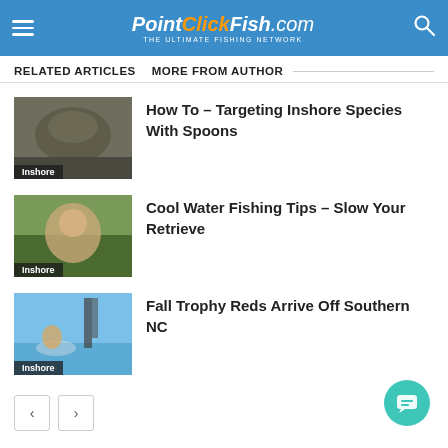PointClickFish.com – THE ULTIMATE FISHING NETWORK
RELATED ARTICLES    MORE FROM AUTHOR
[Figure (photo): Thumbnail photo of a fish, labeled Inshore]
How To – Targeting Inshore Species With Spoons
[Figure (photo): Thumbnail photo of a person fishing, labeled Inshore]
Cool Water Fishing Tips – Slow Your Retrieve
[Figure (photo): Thumbnail photo of a person holding a fish on a boat, labeled Inshore]
Fall Trophy Reds Arrive Off Southern NC